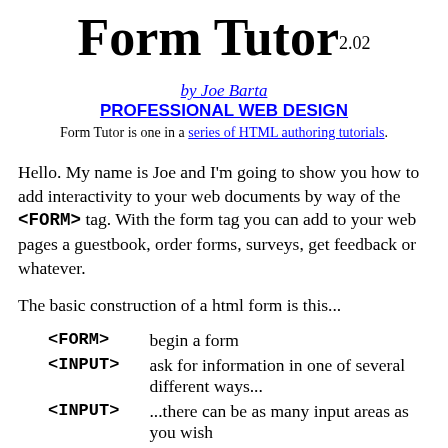Form Tutor 2.02
by Joe Barta
PROFESSIONAL WEB DESIGN
Form Tutor is one in a series of HTML authoring tutorials.
Hello. My name is Joe and I'm going to show you how to add interactivity to your web documents by way of the <FORM> tag. With the form tag you can add to your web pages a guestbook, order forms, surveys, get feedback or whatever.
The basic construction of a html form is this...
| Tag | Description |
| --- | --- |
| <FORM> | begin a form |
| <INPUT> | ask for information in one of several different ways... |
| <INPUT> | ...there can be as many input areas as you wish |
| </FORM> | end a form |
That's html forms in a nutshell. You are now ready to make some forms! Now's a good time to stress that if you want to learn how to make quality html documents, then you would be well served to take the time to teach yourself the tags. If you rely on the so-called